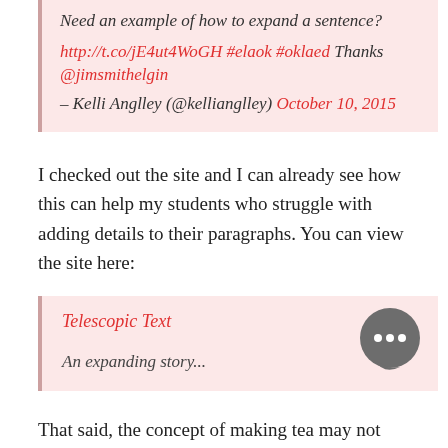Need an example of how to expand a sentence? http://t.co/jE4ut4WoGH #elaok #oklaed Thanks @jimsmithelgin – Kelli Anglley (@kellianglley) October 10, 2015
I checked out the site and I can already see how this can help my students who struggle with adding details to their paragraphs. You can view the site here:
Telescopic Text
An expanding story...
That said, the concept of making tea may not engage